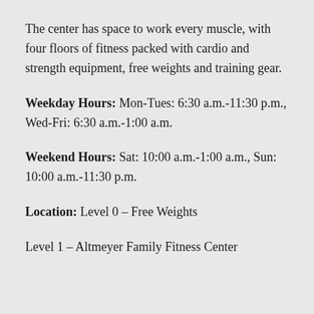The center has space to work every muscle, with four floors of fitness packed with cardio and strength equipment, free weights and training gear.
Weekday Hours: Mon-Tues: 6:30 a.m.-11:30 p.m., Wed-Fri: 6:30 a.m.-1:00 a.m.
Weekend Hours: Sat: 10:00 a.m.-1:00 a.m., Sun: 10:00 a.m.-11:30 p.m.
Location: Level 0 – Free Weights
Level 1 – Altmeyer Family Fitness Center